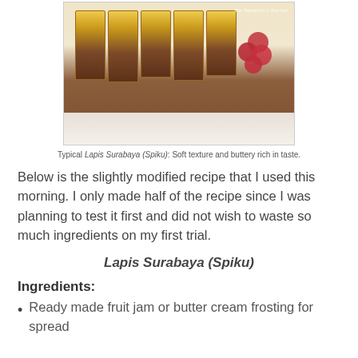[Figure (photo): Photo of Lapis Surabaya (Spiku) cake slices on a plate with red grapes, with watermark 'The Wanderer's Journal']
Typical Lapis Surabaya (Spiku): Soft texture and buttery rich in taste.
Below is the slightly modified recipe that I used this morning. I only made half of the recipe since I was planning to test it first and did not wish to waste so much ingredients on my first trial.
Lapis Surabaya (Spiku)
Ingredients:
Ready made fruit jam or butter cream frosting for spread